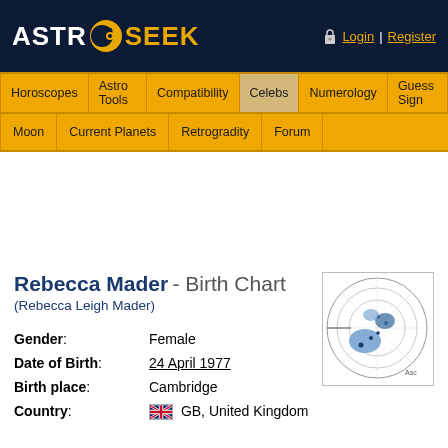ASTRO SEEK - Login | Register
Horoscopes | Astro Tools | Compatibility | Celebs | Numerology | Guess Sign
Moon | Current Planets | Retrogradity | Forum
Rebecca Mader - Birth Chart
(Rebecca Leigh Mader)
[Figure (other): Astrological birth chart wheel for Rebecca Mader showing blue planetary positions on a circular zodiac diagram]
| Field | Value |
| --- | --- |
| Gender: | Female |
| Date of Birth: | 24 April 1977 |
| Birth place: | Cambridge |
| Country: | GB, United Kingdom |